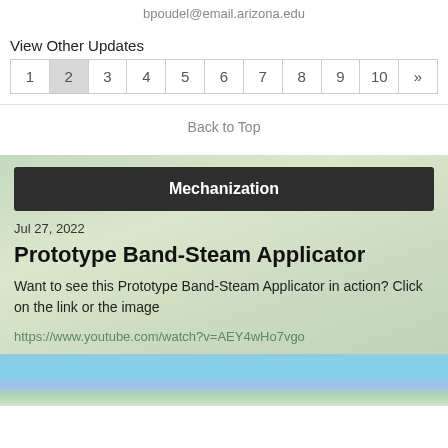bpoudel@email.arizona.edu
View Other Updates
| 1 | 2 | 3 | 4 | 5 | 6 | 7 | 8 | 9 | 10 | » |
| --- | --- | --- | --- | --- | --- | --- | --- | --- | --- | --- |
Back to Top
Mechanization
Jul 27, 2022
Prototype Band-Steam Applicator
Want to see this Prototype Band-Steam Applicator in action? Click on the link or the image
https://www.youtube.com/watch?v=AEY4wHo7vgo
[Figure (photo): Sky and field image strip at the bottom of the page]